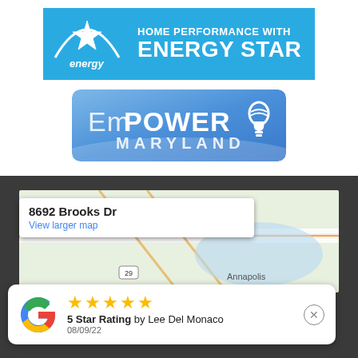[Figure (logo): Home Performance with ENERGY STAR logo — blue background with white Energy Star symbol on the left and white text 'HOME PERFORMANCE WITH ENERGY STAR' on the right]
[Figure (logo): EmPOWER MARYLAND logo — blue gradient background with white text 'EmPOWER MARYLAND' and a white CFL lightbulb icon]
[Figure (screenshot): Google Maps screenshot showing location '8692 Brooks Dr' with a popup card reading 'View larger map' and the map showing Annapolis area with route 29 and 301]
[Figure (screenshot): Google review card showing 5 yellow stars, text '5 Star Rating by Lee Del Monaco', date '08/09/22', Google G logo on the left, and a close (X) button]